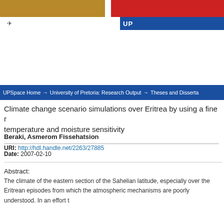[Figure (screenshot): University website header with gold, red, and blue color bars, a bird/logo icon, and a photo strip on the right]
UPSpace Home → University of Pretoria: Research Output → Theses and Disserta
Climate change scenario simulations over Eritrea by using a fine r temperature and moisture sensitivity
Beraki, Asmerom Fissehatsion
URI: http://hdl.handle.net/2263/27885
Date: 2007-02-10
Abstract:
The climate of the eastern section of the Sahelian latitude, especially over the Eritrean episodes from which the atmospheric mechanisms are poorly understood. In an effort t